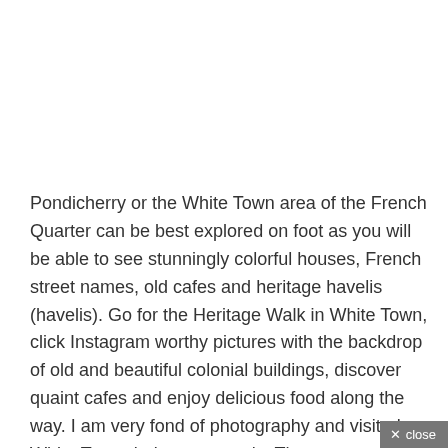Pondicherry or the White Town area of the French Quarter can be best explored on foot as you will be able to see stunningly colorful houses, French street names, old cafes and heritage havelis (havelis). Go for the Heritage Walk in White Town, click Instagram worthy pictures with the backdrop of old and beautiful colonial buildings, discover quaint cafes and enjoy delicious food along the way. I am very fond of photography and visited White Town during my travels. The area was really clean green and you will find many